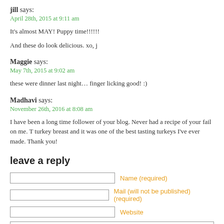jill says:
April 28th, 2015 at 9:11 am
It's almost MAY! Puppy time!!!!!!
And these do look delicious. xo, j
Maggie says:
May 7th, 2015 at 9:02 am
these were dinner last night… finger licking good! :)
Madhavi says:
November 26th, 2016 at 8:08 am
I have been a long time follower of your blog. Never had a recipe of your fail on me. T turkey breast and it was one of the best tasting turkeys I've ever made. Thank you!
leave a reply
Name (required)
Mail (will not be published) (required)
Website